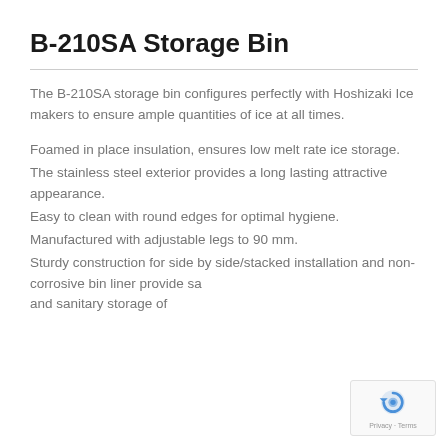B-210SA Storage Bin
The B-210SA storage bin configures perfectly with Hoshizaki Ice makers to ensure ample quantities of ice at all times.
Foamed in place insulation, ensures low melt rate ice storage.
The stainless steel exterior provides a long lasting attractive appearance.
Easy to clean with round edges for optimal hygiene.
Manufactured with adjustable legs to 90 mm.
Sturdy construction for side by side/stacked installation and non-corrosive bin liner provide safe and sanitary storage of